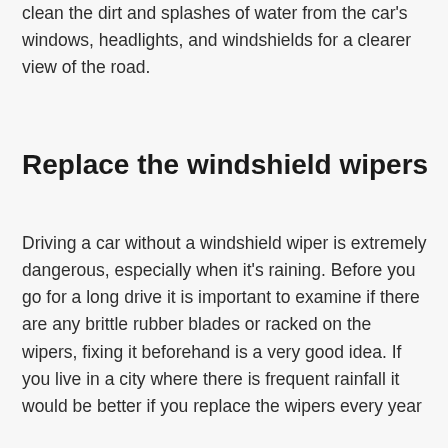clean the dirt and splashes of water from the car's windows, headlights, and windshields for a clearer view of the road.
Replace the windshield wipers
Driving a car without a windshield wiper is extremely dangerous, especially when it's raining. Before you go for a long drive it is important to examine if there are any brittle rubber blades or racked on the wipers, fixing it beforehand is a very good idea. If you live in a city where there is frequent rainfall it would be better if you replace the wipers every year